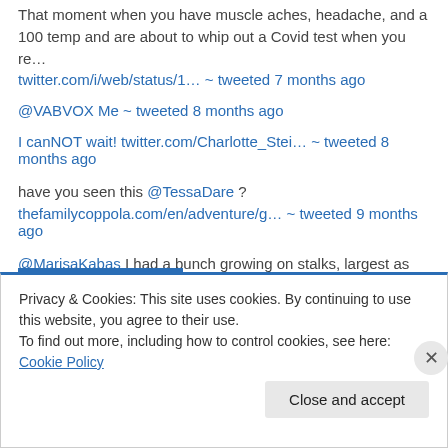That moment when you have muscle aches, headache, and a 100 temp and are about to whip out a Covid test when you re…
twitter.com/i/web/status/1… ~ tweeted 7 months ago
@VABVOX Me ~ tweeted 8 months ago
I canNOT wait! twitter.com/Charlotte_Stei… ~ tweeted 8 months ago
have you seen this @TessaDare ?
thefamilycoppola.com/en/adventure/g… ~ tweeted 9 months ago
@MarisaKabas I had a bunch growing on stalks, largest as big as a large orange, found after an ER visit for acute a…
twitter.com/i/web/status/1… ~ tweeted 11 months ago
Privacy & Cookies: This site uses cookies. By continuing to use this website, you agree to their use.
To find out more, including how to control cookies, see here: Cookie Policy
Close and accept